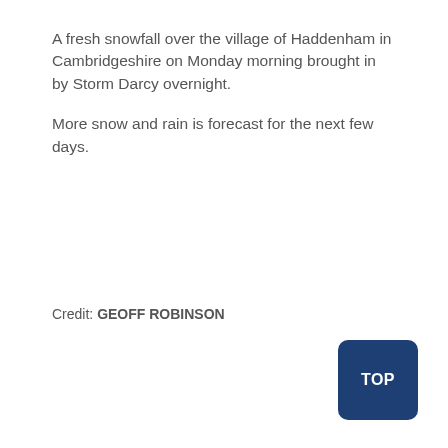A fresh snowfall over the village of Haddenham in Cambridgeshire on Monday morning brought in by Storm Darcy overnight.
More snow and rain is forecast for the next few days.
Credit: GEOFF ROBINSON